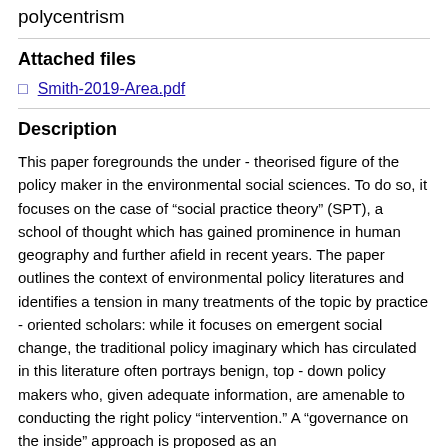polycentrism
Attached files
Smith-2019-Area.pdf
Description
This paper foregrounds the under - theorised figure of the policy maker in the environmental social sciences. To do so, it focuses on the case of “social practice theory” (SPT), a school of thought which has gained prominence in human geography and further afield in recent years. The paper outlines the context of environmental policy literatures and identifies a tension in many treatments of the topic by practice - oriented scholars: while it focuses on emergent social change, the traditional policy imaginary which has circulated in this literature often portrays benign, top - down policy makers who, given adequate information, are amenable to conducting the right policy “intervention.” A “governance on the inside” approach is proposed as an